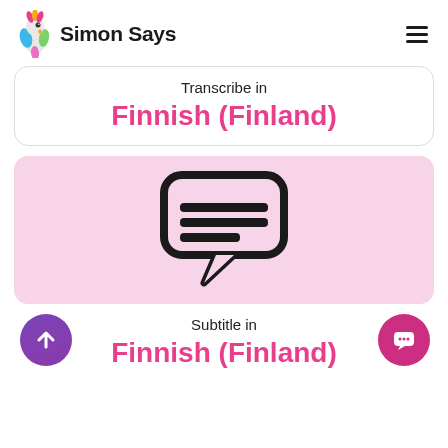[Figure (logo): Simon Says logo with colorful parrot icon and bold text 'Simon Says']
Transcribe in
Finnish (Finland)
[Figure (illustration): Speech bubble / subtitle icon with horizontal lines inside, on pink background]
Subtitle in
Finnish (Finland)